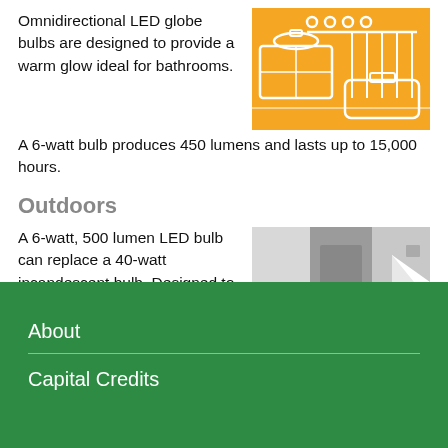Omnidirectional LED globe bulbs are designed to provide a warm glow ideal for bathrooms. A 6-watt bulb produces 450 lumens and lasts up to 15,000 hours.
[Figure (illustration): Orange background illustration of a bathroom with a sink/vanity and a bathtub with shower curtain.]
Outdoors
A 6-watt, 500 lumen LED bulb can replace a 40-watt incandescent bulb. Designed to last up to 30,000 hours, it could be a one-time switch.
[Figure (illustration): Gray-toned illustration of an outdoor scene with a door/wall and a lamp/light fixture.]
About
Capital Credits